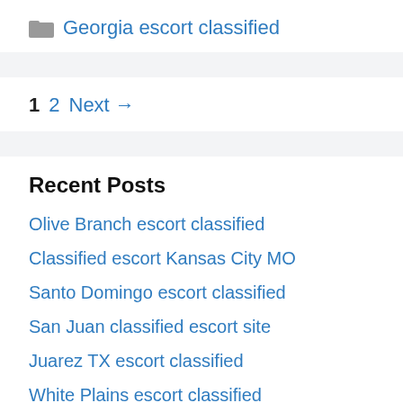Georgia escort classified
1  2  Next →
Recent Posts
Olive Branch escort classified
Classified escort Kansas City MO
Santo Domingo escort classified
San Juan classified escort site
Juarez TX escort classified
White Plains escort classified